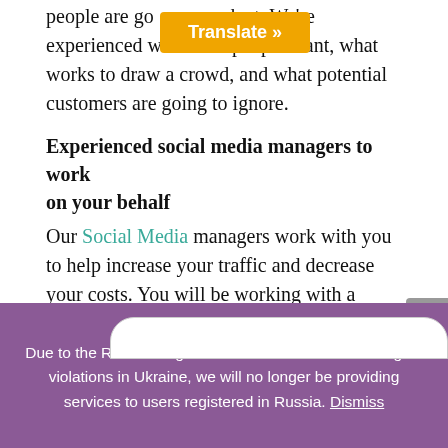people are going to look at. We're experienced with what people want, what works to draw a crowd, and what potential customers are going to ignore.
Experienced social media managers to work on your behalf
Our Social Media managers work with you to help increase your traffic and decrease your costs. You will be working with a manager who understands the way your business works and is prepared to execute what works for you.
I...
Due to the Russian regime's war crimes and human rights violations in Ukraine, we will no longer be providing services to users registered in Russia. Dismiss